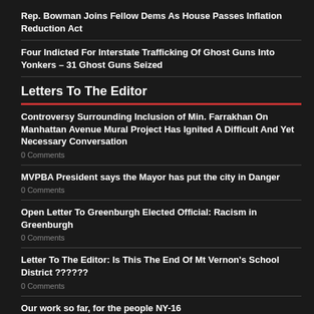Rep. Bowman Joins Fellow Dems As House Passes Inflation Reduction Act
Four Indicted For Interstate Trafficking Of Ghost Guns Into Yonkers – 31 Ghost Guns Seized
Letters To The Editor
Controversy Surrounding Inclusion of Min. Farrakhan On Manhattan Avenue Mural Project Has Ignited A Difficult And Yet Necessary Conversation
0 Comments
MVPBA President says the Mayor has put the city in Danger
0 Comments
Open Letter To Greenburgh Elected Official: Racism in Greenburgh
0 Comments
Letter To The Editor: Is This The End Of Mt Vernon's School District ??????
0 Comments
Our work so far, for the people NY-16
By Rep. Jamaal Bowman